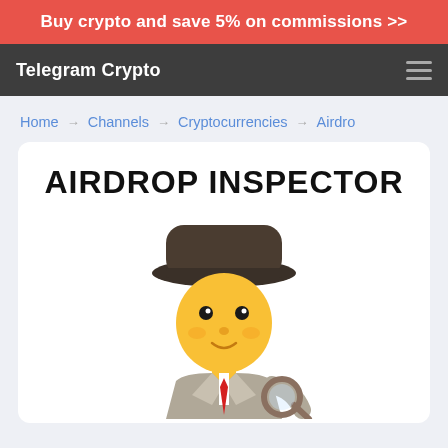Buy crypto and save 5% on commissions >>
Telegram Crypto
Home → Channels → Cryptocurrencies → Airdro
AIRDROP INSPECTOR
[Figure (illustration): Detective emoji: yellow face wearing a dark hat, holding a magnifying glass, wearing a grey trench coat with a red tie]